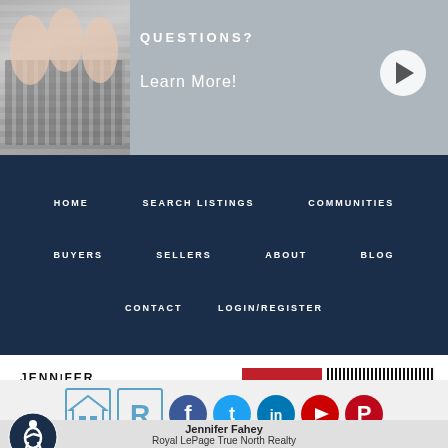[Figure (screenshot): Banner with keyboard image on left, 'QUESTIONS?' text and 'Learn More!' with play button on gray background]
[Figure (infographic): Navigation menu with dark navy background: HOME, SEARCH LISTINGS, COMMUNITIES, BUYERS, SELLERS, ABOUT, BLOG, CONTACT, LOGIN/REGISTER]
[Figure (logo): Jennifer Fahey logo with house icon and tagline REAL ADVICE, REAL RESULTS]
[Figure (logo): Royal LePage True North Realty logo with red bars and stripe pattern]
[Figure (infographic): Equal Housing Opportunity and REALTOR logos plus social media icons: Facebook, Twitter, LinkedIn, YouTube, Pinterest]
[Figure (logo): Accessibility icon in dark blue circle]
Jennifer Fahey
Royal LePage True North Realty